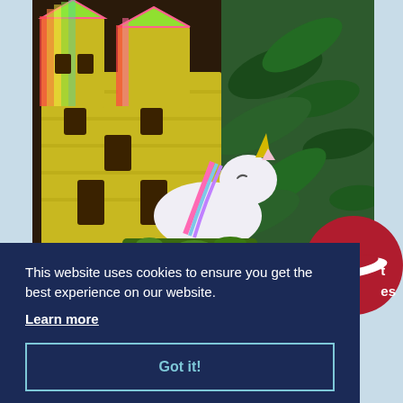[Figure (photo): Aquarium scene with a glowing yellow/rainbow castle decoration on the left, green aquatic plants on the right, and a white unicorn figurine in the center foreground on green gravel]
This website uses cookies to ensure you get the best experience on our website.
Learn more
Got it!
Gravel Range from Specialist Substrates.